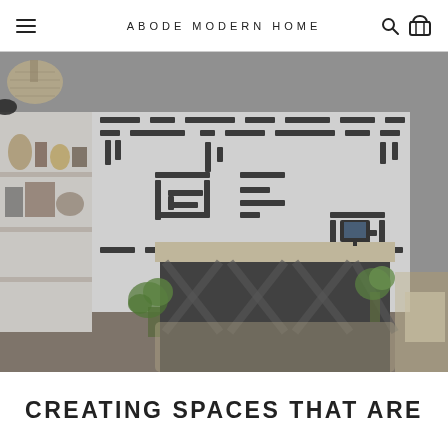ABODE MODERN HOME
[Figure (photo): Interior of Abode Modern Home store showing shelving with decorative items, a dark geometric reception desk, bold black and white patterned wallpaper, and plants throughout the space.]
CREATING SPACES THAT ARE